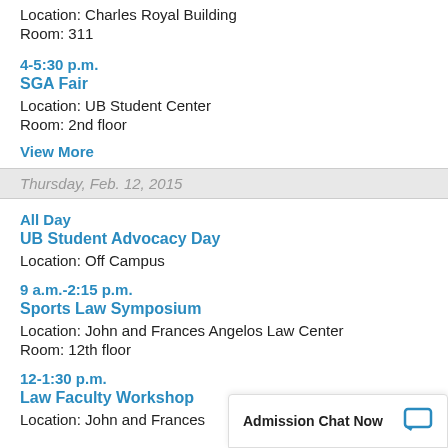Location: Charles Royal Building
Room: 311
4-5:30 p.m.
SGA Fair
Location: UB Student Center
Room: 2nd floor
View More
Thursday, Feb. 12, 2015
All Day
UB Student Advocacy Day
Location: Off Campus
9 a.m.-2:15 p.m.
Sports Law Symposium
Location: John and Frances Angelos Law Center
Room: 12th floor
12-1:30 p.m.
Law Faculty Workshop
Location: John and Frances